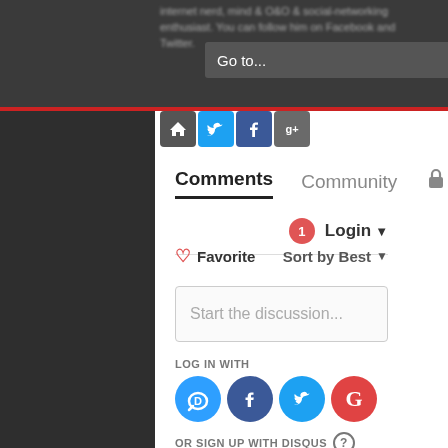internet nerd, mind & O&O & social-networking enthusiast. You can follow him on Facebook and Twitter.
Go to...
[Figure (screenshot): Social media icon buttons: home, Twitter, Facebook, Google+]
Comments | Community
Login
♡ Favorite    Sort by Best
Start the discussion...
LOG IN WITH
[Figure (screenshot): Social login buttons: Disqus (D), Facebook (f), Twitter bird, Google (G)]
OR SIGN UP WITH DISQUS ?
Name